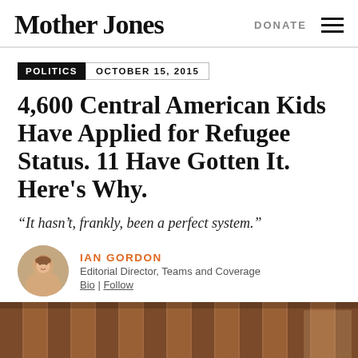Mother Jones | DONATE
POLITICS  OCTOBER 15, 2015
4,600 Central American Kids Have Applied for Refugee Status. 11 Have Gotten It. Here's Why.
“It hasn’t, frankly, been a perfect system.”
IAN GORDON
Editorial Director, Teams and Coverage
Bio | Follow
[Figure (photo): Partial view of a brown/rusty colored corrugated metal border fence or wall structure]